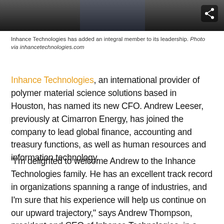[Figure (photo): Dark strip showing bottom of a photo of a person in a blue striped outfit, with a share icon in the top-right corner]
Inhance Technologies has added an integral member to its leadership. Photo via inhancetechnologies.com
Inhance Technologies, an international provider of polymer material science solutions based in Houston, has named its new CFO. Andrew Leeser, previously at Cimarron Energy, has joined the company to lead global finance, accounting and treasury functions, as well as human resources and information technology.
"I'm delighted to welcome Andrew to the Inhance Technologies family. He has an excellent track record in organizations spanning a range of industries, and I'm sure that his experience will help us continue on our upward trajectory," says Andrew Thompson, president and CEO of Inhance Technologies, in a news release